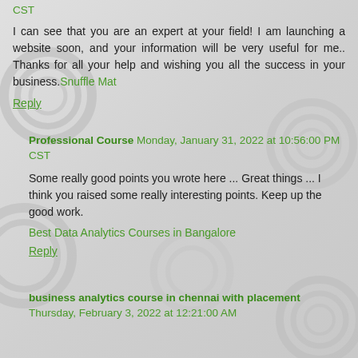CST
I can see that you are an expert at your field! I am launching a website soon, and your information will be very useful for me.. Thanks for all your help and wishing you all the success in your business. Snuffle Mat
Reply
Professional Course  Monday, January 31, 2022 at 10:56:00 PM CST
Some really good points you wrote here ... Great things ... I think you raised some really interesting points. Keep up the good work.
Best Data Analytics Courses in Bangalore
Reply
business analytics course in chennai with placement  Thursday, February 3, 2022 at 12:21:00 AM